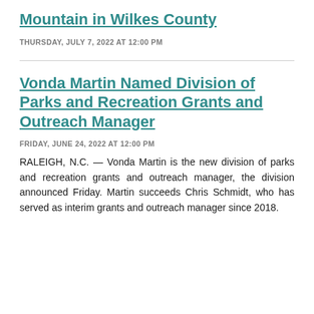Mountain in Wilkes County
THURSDAY, JULY 7, 2022 AT 12:00 PM
Vonda Martin Named Division of Parks and Recreation Grants and Outreach Manager
FRIDAY, JUNE 24, 2022 AT 12:00 PM
RALEIGH, N.C. — Vonda Martin is the new division of parks and recreation grants and outreach manager, the division announced Friday. Martin succeeds Chris Schmidt, who has served as interim grants and outreach manager since 2018.